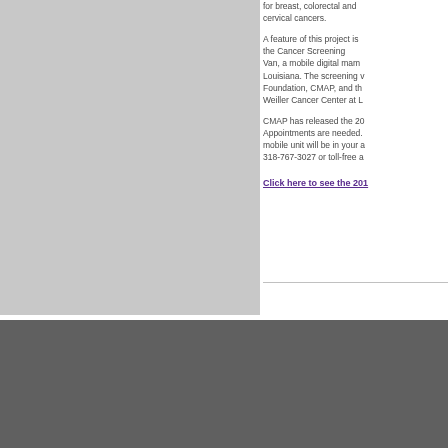[Figure (photo): Gray placeholder image block on the left side of the upper section]
for breast, colorectal and cervical cancers.
A feature of this project is the Cancer Screening Van, a mobile digital mam... Louisiana. The screening v... Foundation, CMAP, and th... Weiller Cancer Center at L...
CMAP has released the 20... Appointments are needed.... mobile unit will be in your a... 318-767-3027 or toll-free a...
Click here to see the 201...
[Figure (logo): Gold/yellow logo with stylized river or wave lines on white square background]
Mission